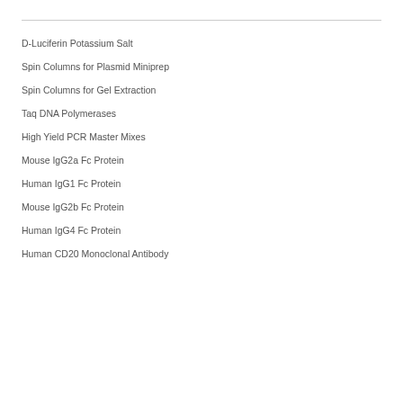D-Luciferin Potassium Salt
Spin Columns for Plasmid Miniprep
Spin Columns for Gel Extraction
Taq DNA Polymerases
High Yield PCR Master Mixes
Mouse IgG2a Fc Protein
Human IgG1 Fc Protein
Mouse IgG2b Fc Protein
Human IgG4 Fc Protein
Human CD20 Monoclonal Antibody
Human EGFR Monoclonal Antibody
Best Sales of Services
Rabbit Polyclonal Antibody Production Services
Mouse Monoclonal Antibody Production Services
Antibody Sequencing, Hybridoma Sequencing
Recombinant Antibody (IgG) Production Services